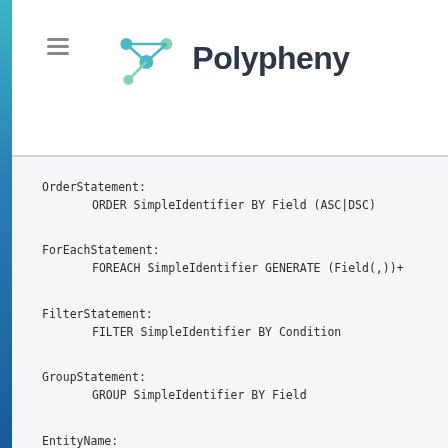Polypheny
OrderStatement:
    ORDER SimpleIdentifier BY Field (ASC|DSC)

ForEachStatement:
    FOREACH SimpleIdentifier GENERATE (Field(,))+

FilterStatement:
    FILTER SimpleIdentifier BY Condition

GroupStatement:
    GROUP SimpleIdentifier BY Field

EntityName:
    ('"' Name '"')
    |
    ('\'' Name '\'')

Condition:
    Field